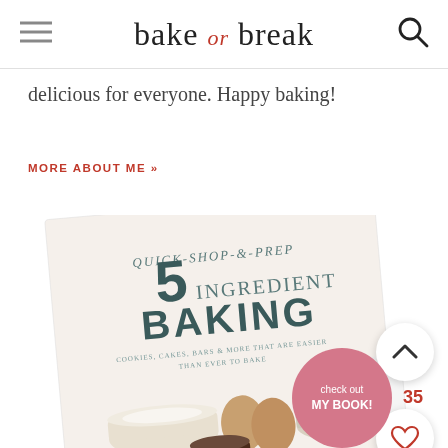bake or break
delicious for everyone. Happy baking!
MORE ABOUT ME »
[Figure (photo): Book cover: Quick-Shop-&-Prep 5 Ingredient Baking by Jennifer McHenry. Cover shows baking ingredients including eggs, flour, oats, milk, and chocolate chips. Subtitle: Cookies, Cakes, Bars & More That Are Easier Than Ever to Bake. Circle button overlay reads 'check out MY BOOK!']